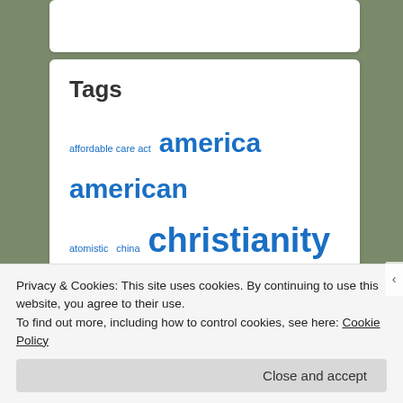Tags
affordable care act america american atomistic china christianity climate change communist consanguineous creation creator deconstructionist demagogic democracy democrat desacralized desanctified economics enlightenment environment ethno-linguistic eugenics fdr gender jobs linguisto-cultural media
Privacy & Cookies: This site uses cookies. By continuing to use this website, you agree to their use.
To find out more, including how to control cookies, see here: Cookie Policy
Close and accept